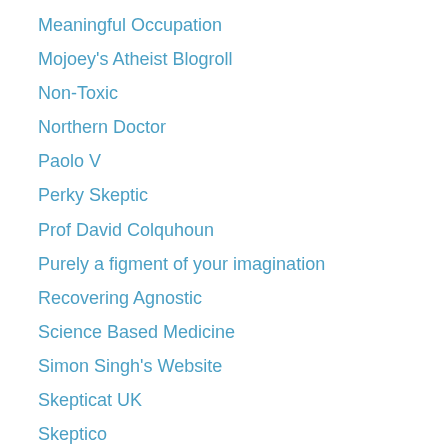Meaningful Occupation
Mojoey's Atheist Blogroll
Non-Toxic
Northern Doctor
Paolo V
Perky Skeptic
Prof David Colquhoun
Purely a figment of your imagination
Recovering Agnostic
Science Based Medicine
Simon Singh's Website
Skepticat UK
Skeptico
Skeptics' Circle
Smart Bombs
TDPF
Teek's Blog
The Family Voyage
The Great DBH Rant
The Nightingale Collaboration